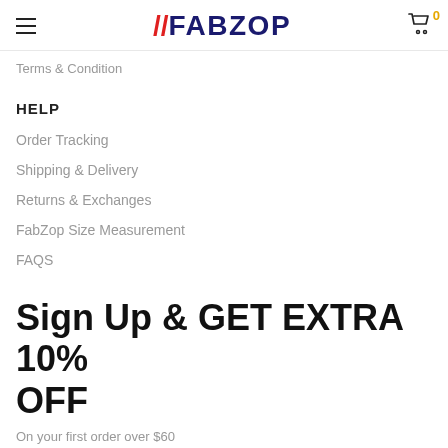//FABZOP
Terms & Condition
HELP
Order Tracking
Shipping & Delivery
Returns & Exchanges
FabZop Size Measurement
FAQS
Sign Up & GET EXTRA 10% OFF
On your first order over $60